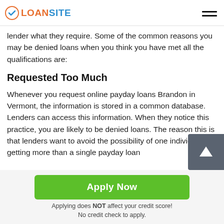LOANSITE
lender what they require. Some of the common reasons you may be denied loans when you think you have met all the qualifications are:
Requested Too Much
Whenever you request online payday loans Brandon in Vermont, the information is stored in a common database. Lenders can access this information. When they notice this practice, you are likely to be denied loans. The reason this is that lenders want to avoid the possibility of one individual getting more than a single payday loan
Apply Now
Applying does NOT affect your credit score!
No credit check to apply.